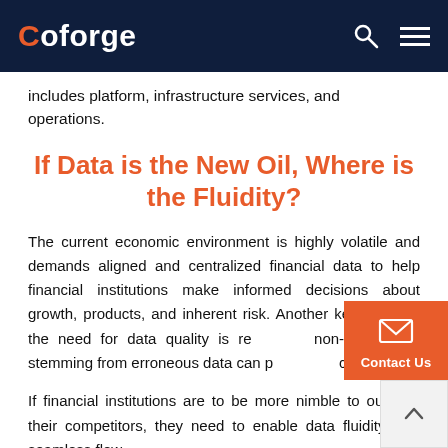Coforge
includes platform, infrastructure services, and operations.
If Data is the New Oil, Where is the Fluidity?
The current economic environment is highly volatile and demands aligned and centralized financial data to help financial institutions make informed decisions about growth, products, and inherent risk. Another key driver of the need for data quality is regulatory non-compliance stemming from erroneous data can prove very costly.
If financial institutions are to be more nimble to outpace their competitors, they need to enable data fluidity with seamless flow